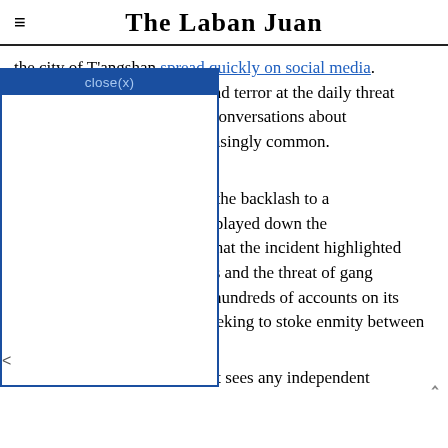The Laban Juan
the city of Tangshan spread quickly on social media. [popup overlay with close(x) button obscures part of text] outrage and terror at the daily threat [in] China, where conversations about [becoming] increasingly common. . ET [popup continues] e also showed the backlash to a [move]ment. Some played down the threat to women, suggesting that the incident highlighted general public safety concerns and the threat of gang violence. Weibo also deleted hundreds of accounts on its platform, accusing users of seeking to stoke enmity between genders.
Analysis: China's government sees any independent